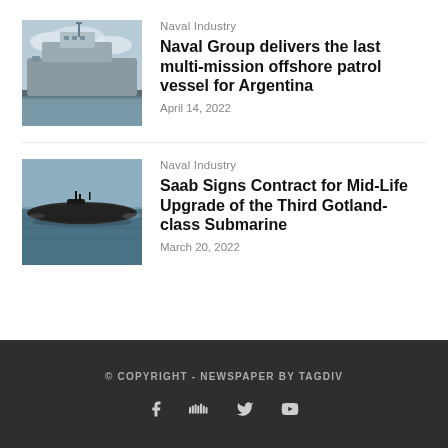[Figure (photo): Naval offshore patrol vessel docked at a port, grey hull, overcast sky]
Naval Industry
Naval Group delivers the last multi-mission offshore patrol vessel for Argentina
April 14, 2022
[Figure (photo): Submarine on the surface of open water, dark hull]
Naval Industry
Saab Signs Contract for Mid-Life Upgrade of the Third Gotland-class Submarine
March 20, 2022
© COPYRIGHT - NEWSPAPER BY TAGDIV